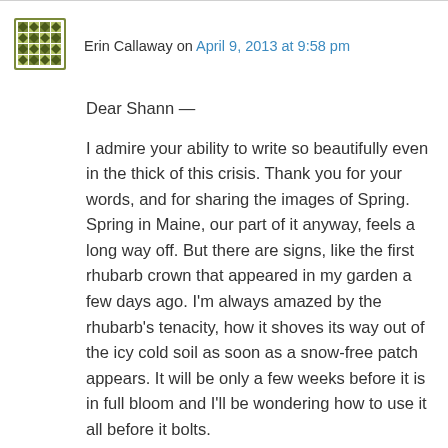[Figure (illustration): Square avatar icon with a green geometric quilt/grid pattern]
Erin Callaway on April 9, 2013 at 9:58 pm
Dear Shann —

I admire your ability to write so beautifully even in the thick of this crisis. Thank you for your words, and for sharing the images of Spring. Spring in Maine, our part of it anyway, feels a long way off. But there are signs, like the first rhubarb crown that appeared in my garden a few days ago. I'm always amazed by the rhubarb's tenacity, how it shoves its way out of the icy cold soil as soon as a snow-free patch appears. It will be only a few weeks before it is in full bloom and I'll be wondering how to use it all before it bolts.

With love and healing prayers,